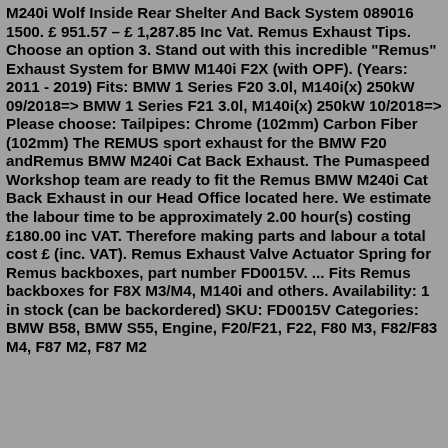M240i Wolf Inside Rear Shelter And Back System 089016 1500. £ 951.57 – £ 1,287.85 Inc Vat. Remus Exhaust Tips. Choose an option 3. Stand out with this incredible "Remus" Exhaust System for BMW M140i F2X (with OPF). (Years: 2011 - 2019) Fits: BMW 1 Series F20 3.0l, M140i(x) 250kW 09/2018=> BMW 1 Series F21 3.0l, M140i(x) 250kW 10/2018=> Please choose: Tailpipes: Chrome (102mm) Carbon Fiber (102mm) The REMUS sport exhaust for the BMW F20 andRemus BMW M240i Cat Back Exhaust. The Pumaspeed Workshop team are ready to fit the Remus BMW M240i Cat Back Exhaust in our Head Office located here. We estimate the labour time to be approximately 2.00 hour(s) costing £180.00 inc VAT. Therefore making parts and labour a total cost £ (inc. VAT). Remus Exhaust Valve Actuator Spring for Remus backboxes, part number FD0015V. ... Fits Remus backboxes for F8X M3/M4, M140i and others. Availability: 1 in stock (can be backordered) SKU: FD0015V Categories: BMW B58, BMW S55, Engine, F20/F21, F22, F80 M3, F82/F83 M4, F87 M2, F87 M2